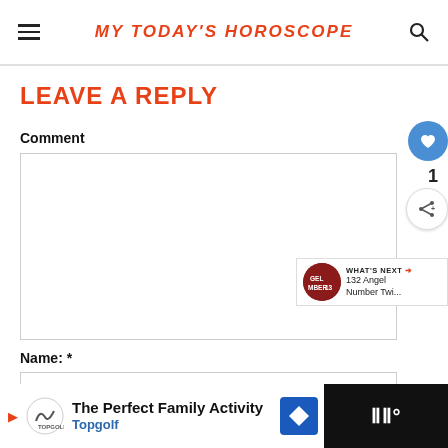MY TODAY'S HOROSCOPE
LEAVE A REPLY
Comment
Name: *
[Figure (screenshot): Comment text area input box]
[Figure (screenshot): Name input field]
[Figure (infographic): What's Next panel showing 132 Angel Number Twi...]
[Figure (infographic): Advertisement banner: The Perfect Family Activity - Topgolf]